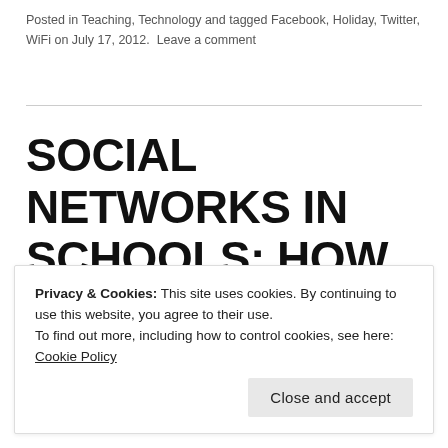Posted in Teaching, Technology and tagged Facebook, Holiday, Twitter, WiFi on July 17, 2012. Leave a comment
SOCIAL NETWORKS IN SCHOOLS: HOW TO MAKE IT WORK
Privacy & Cookies: This site uses cookies. By continuing to use this website, you agree to their use.
To find out more, including how to control cookies, see here: Cookie Policy
Close and accept
Follow @mattbritland    2,564 followers